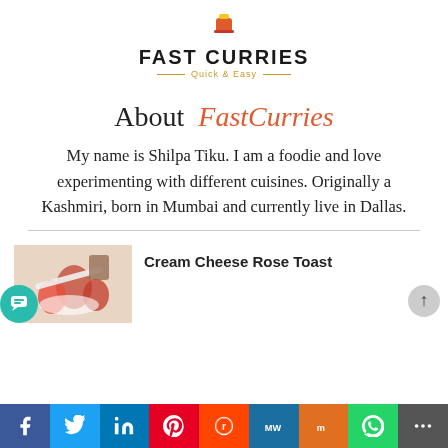[Figure (logo): Fast Curries logo with icon, bold title text 'FAST CURRIES', and subtitle 'Quick & Easy']
About FastCurries
My name is Shilpa Tiku. I am a foodie and love experimenting with different cuisines. Originally a Kashmiri, born in Mumbai and currently live in Dallas.
[Figure (photo): Thumbnail photo showing strawberries and cream cheese on toast]
Cream Cheese Rose Toast
Social share bar: Facebook, Twitter, LinkedIn, Pinterest, Reddit, MixW, Mix, WhatsApp, More